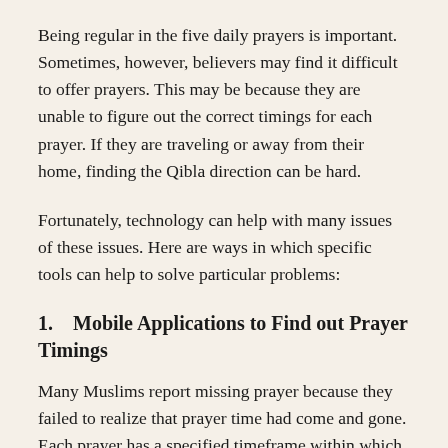Being regular in the five daily prayers is important. Sometimes, however, believers may find it difficult to offer prayers. This may be because they are unable to figure out the correct timings for each prayer. If they are traveling or away from their home, finding the Qibla direction can be hard.
Fortunately, technology can help with many issues of these issues. Here are ways in which specific tools can help to solve particular problems:
1.    Mobile Applications to Find out Prayer Timings
Many Muslims report missing prayer because they failed to realize that prayer time had come and gone. Each prayer has a specified timeframe within which to offer that prayer.